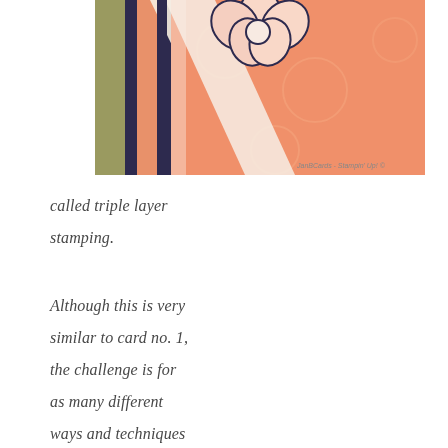[Figure (photo): Close-up photograph of a handmade stamping card featuring salmon/peach patterned paper with scrollwork, dark navy/purple vertical stripes, a cream ribbon bow, and a large layered paper flower (white/peach petals with navy outline) at the top. Watermark reads 'JanBCards - Stampin' Up! ©']
called triple layer stamping.
Although this is very similar to card no. 1, the challenge is for as many different ways and techniques to use one stamp set.